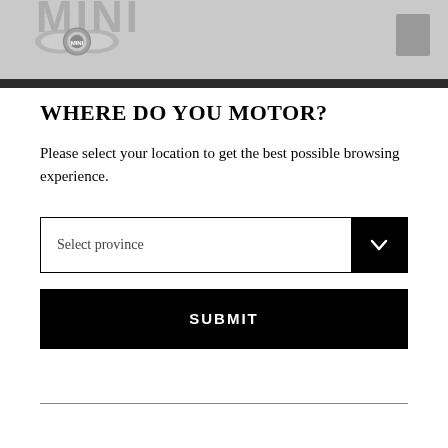[Figure (logo): MINI winged logo in grayscale with partial page title text in background header bar]
WHERE DO YOU MOTOR?
Please select your location to get the best possible browsing experience.
Select province
SUBMIT